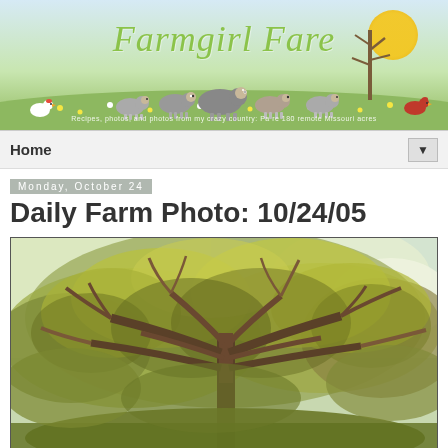[Figure (illustration): Farmgirl Fare blog banner with illustrated sheep, chickens, trees, and sun on a green meadow with blue sky. Script text reads 'Farmgirl Fare' in green. Subtitle: 'Recipes, photos, and photos from my crazy country: Pa re 180 remote Missouri acres']
Home ▼
Monday, October 24
Daily Farm Photo: 10/24/05
[Figure (photo): Photograph of a large oak tree with autumn foliage in yellow-green and brown tones, branches spreading wide against a bright sky.]